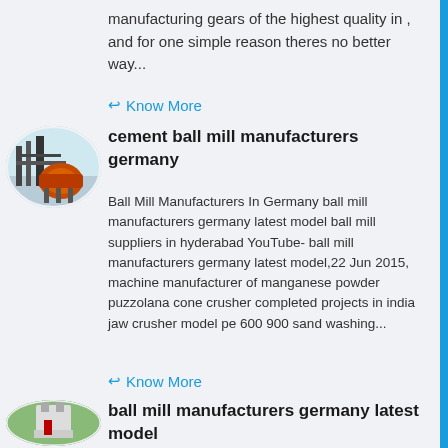manufacturing gears of the highest quality in , and for one simple reason theres no better way...
Know More
[Figure (photo): Industrial machinery/crusher equipment, oval cropped image]
cement ball mill manufacturers germany
Ball Mill Manufacturers In Germany ball mill manufacturers germany latest model ball mill suppliers in hyderabad YouTube- ball mill manufacturers germany latest model,22 Jun 2015, machine manufacturer of manganese powder puzzolana cone crusher completed projects in india jaw crusher model pe 600 900 sand washing...
Know More
[Figure (photo): Industrial equipment/ball mill, oval cropped image]
ball mill manufacturers germany latest model